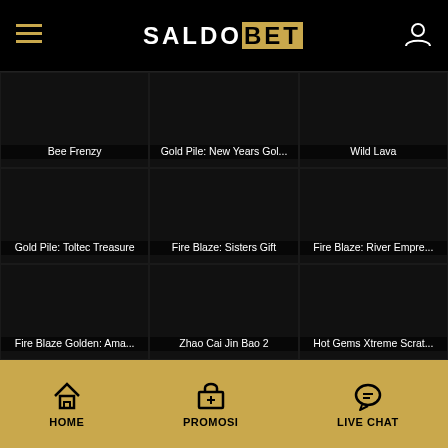SALDOBET - navigation header with hamburger menu and user icon
[Figure (screenshot): Bee Frenzy game thumbnail (black background)]
Bee Frenzy
[Figure (screenshot): Gold Pile: New Years Gol... game thumbnail]
Gold Pile: New Years Gol...
[Figure (screenshot): Wild Lava game thumbnail]
Wild Lava
[Figure (screenshot): Gold Pile: Toltec Treasure game thumbnail]
Gold Pile: Toltec Treasure
[Figure (screenshot): Fire Blaze: Sisters Gift game thumbnail]
Fire Blaze: Sisters Gift
[Figure (screenshot): Fire Blaze: River Empre... game thumbnail]
Fire Blaze: River Empre...
[Figure (screenshot): Fire Blaze Golden: Ama... game thumbnail]
Fire Blaze Golden: Ama...
[Figure (screenshot): Zhao Cai Jin Bao 2 game thumbnail]
Zhao Cai Jin Bao 2
[Figure (screenshot): Hot Gems Xtreme Scrat... game thumbnail]
Hot Gems Xtreme Scrat...
HOME | PROMOSI | LIVE CHAT